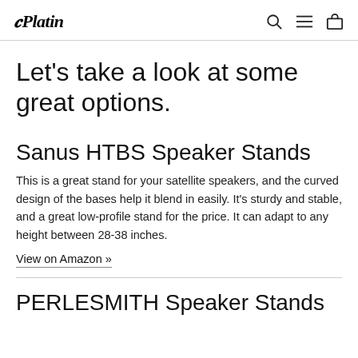Platin
Let's take a look at some great options.
Sanus HTBS Speaker Stands
This is a great stand for your satellite speakers, and the curved design of the bases help it blend in easily. It's sturdy and stable, and a great low-profile stand for the price. It can adapt to any height between 28-38 inches.
View on Amazon »
PERLESMITH Speaker Stands